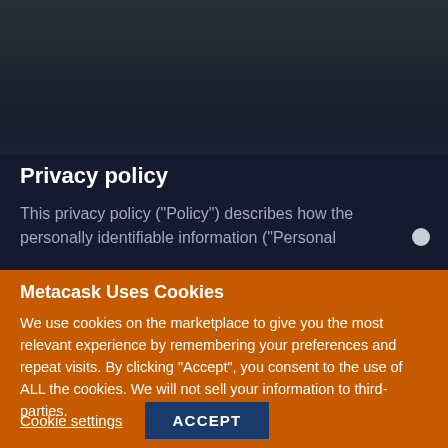Privacy policy
This privacy policy (“Policy”) describes how the personally identifiable information (“Personal
Metacask Uses Cookies
We use cookies on the marketplace to give you the most relevant experience by remembering your preferences and repeat visits. By clicking “Accept”, you consent to the use of ALL the cookies. We will not sell your information to third-parties.
Cookie settings
ACCEPT